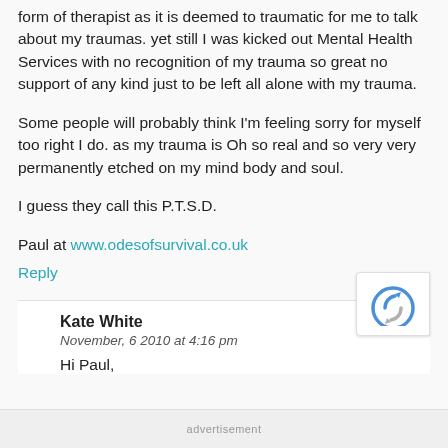form of therapist as it is deemed to traumatic for me to talk about my traumas. yet still I was kicked out Mental Health Services with no recognition of my trauma so great no support of any kind just to be left all alone with my trauma.
Some people will probably think I'm feeling sorry for myself too right I do. as my trauma is Oh so real and so very very permanently etched on my mind body and soul.
I guess they call this P.T.S.D.
Paul at www.odesofsurvival.co.uk
Reply
Kate White
November, 6 2010 at 4:16 pm
Hi Paul,
advertisement